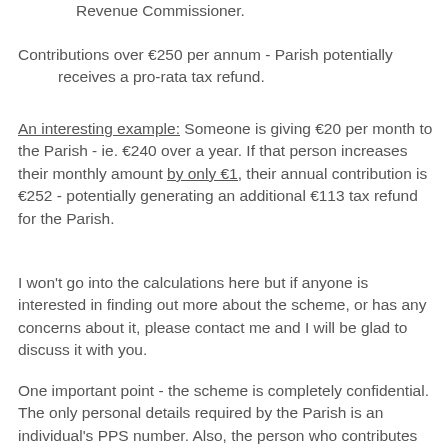Revenue Commissioner.
Contributions over €250 per annum - Parish potentially receives a pro-rata tax refund.
An interesting example: Someone is giving €20 per month to the Parish - ie. €240 over a year. If that person increases their monthly amount by only €1, their annual contribution is €252 - potentially generating an additional €113 tax refund for the Parish.
I won't go into the calculations here but if anyone is interested in finding out more about the scheme, or has any concerns about it, please contact me and I will be glad to discuss it with you.
One important point - the scheme is completely confidential. The only personal details required by the Parish is an individual's PPS number. Also, the person who contributes